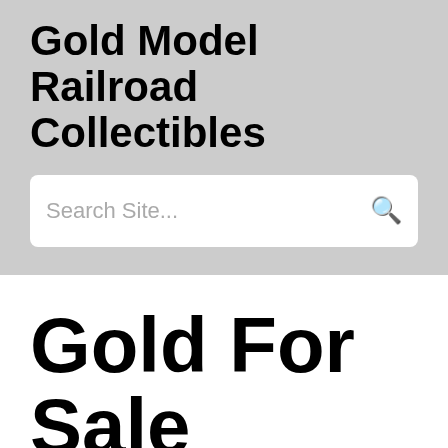Gold Model Railroad Collectibles
Search Site...
Gold For Sale